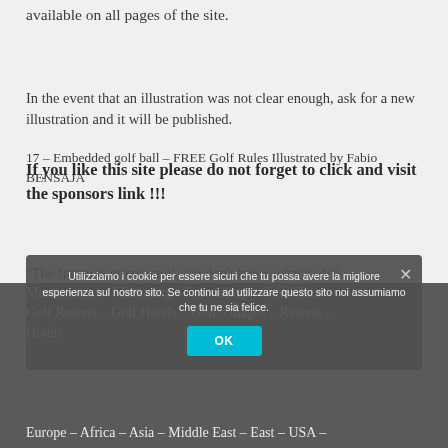available on all pages of the site.
In the event that an illustration was not clear enough, ask for a new illustration and it will be published.
17 – Embedded golf ball – FREE Golf Rules Illustrated by Fabio BENSAJA
If you like this site please do not forget to click and visit the sponsors link !!!
“The future is unknown if you don’t know what to do” Fabio BENSAJA
Management – Marketing – Consulting – Golf Clubs – Golf Resorts – Golf Hotels – Golf Villages – Resorts – Hotels
Europe – Africa – Asia – Middle East – East – USA –
Utilizziamo i cookie per essere sicuri che tu possa avere la migliore esperienza sul nostro sito. Se continui ad utilizzare questo sito noi assumiamo che tu ne sia felice.
OK